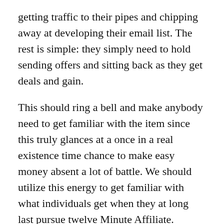getting traffic to their pipes and chipping away at developing their email list. The rest is simple: they simply need to hold sending offers and sitting back as they get deals and gain.
This should ring a bell and make anybody need to get familiar with the item since this truly glances at a once in a real existence time chance to make easy money absent a lot of battle. We should utilize this energy to get familiar with what individuals get when they at long last pursue twelve Minute Affiliate.
The most significant thing that shoppers get is access to many “Accomplished For-You Affiliate” Funnels that they can promptly utilize. These channels are prepared to use with